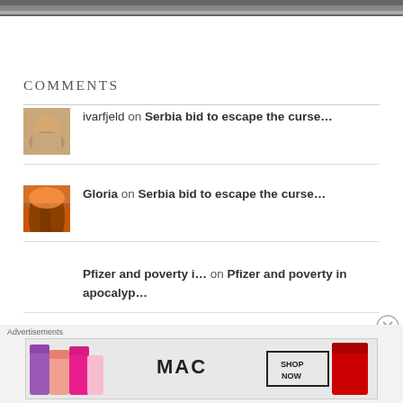[Figure (photo): Top portion of a dark moody image, partially visible at top of page]
COMMENTS
ivarfjeld on Serbia bid to escape the curse...
Gloria on Serbia bid to escape the curse...
Pfizer and poverty i... on Pfizer and poverty in apocalyp...
[Figure (advertisement): MAC cosmetics advertisement showing lipsticks with SHOP NOW button]